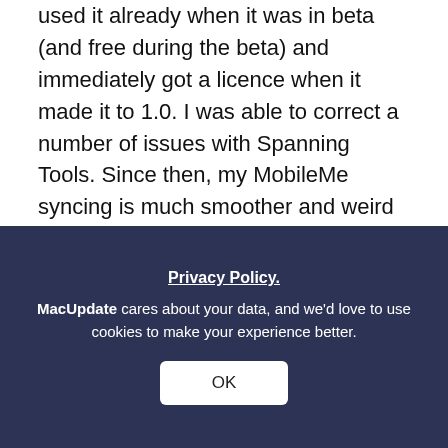used it already when it was in beta (and free during the beta) and immediately got a licence when it made it to 1.0. I was able to correct a number of issues with Spanning Tools. Since then, my MobileMe syncing is much smoother and weird warnings I was getting all went away. The application is a real blessing for me. I haven't seen problems with memory on my Mac (but I immediately updated to 1.0.1 when it came out). I find it a bit pricey, but at the end, it saved me from so many headaches that I think it was well worth the price.
Reply
Ericsackett
Version 1.0
I don't think this should be listed as free. It just
Privacy Policy. MacUpdate cares about your data, and we'd love to use cookies to make your experience better.